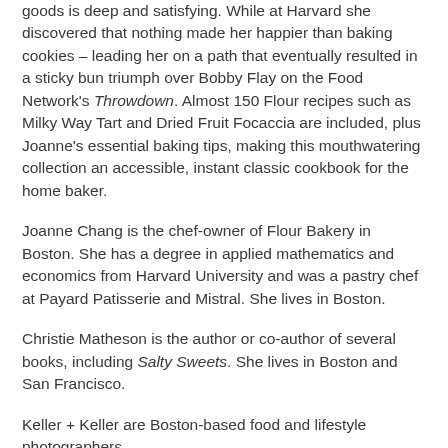goods is deep and satisfying. While at Harvard she discovered that nothing made her happier than baking cookies – leading her on a path that eventually resulted in a sticky bun triumph over Bobby Flay on the Food Network's Throwdown. Almost 150 Flour recipes such as Milky Way Tart and Dried Fruit Focaccia are included, plus Joanne's essential baking tips, making this mouthwatering collection an accessible, instant classic cookbook for the home baker.
Joanne Chang is the chef-owner of Flour Bakery in Boston. She has a degree in applied mathematics and economics from Harvard University and was a pastry chef at Payard Patisserie and Mistral. She lives in Boston.
Christie Matheson is the author or co-author of several books, including Salty Sweets. She lives in Boston and San Francisco.
Keller + Keller are Boston-based food and lifestyle photographers.